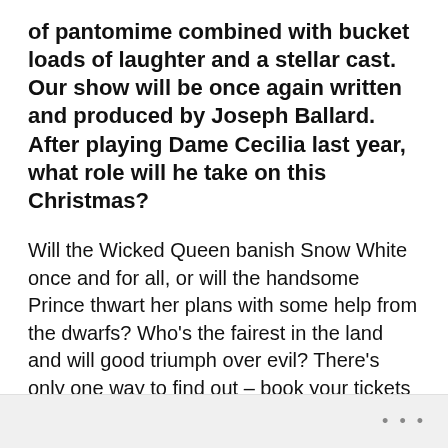of pantomime combined with bucket loads of laughter and a stellar cast. Our show will be once again written and produced by Joseph Ballard. After playing Dame Cecilia last year, what role will he take on this Christmas?
Will the Wicked Queen banish Snow White once and for all, or will the handsome Prince thwart her plans with some help from the dwarfs? Who’s the fairest in the land and will good triumph over evil? There’s only one way to find out – book your tickets now for our magical family pantomime.
Show run time: Just under 2 hours (including interval).